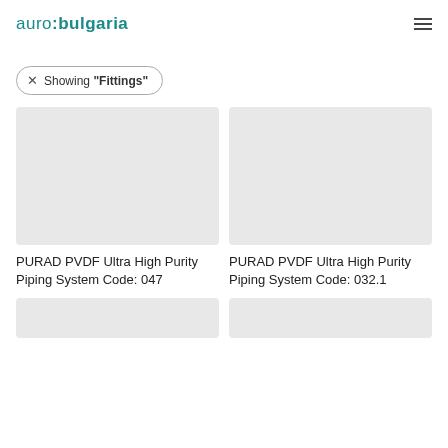auro:bulgaria
Showing "Fittings"
[Figure (photo): Product image placeholder (light grey box) for PURAD PVDF Ultra High Purity Piping System Code: 047]
PURAD PVDF Ultra High Purity Piping System Code: 047
[Figure (photo): Product image placeholder (light grey box) for PURAD PVDF Ultra High Purity Piping System Code: 032.1]
PURAD PVDF Ultra High Purity Piping System Code: 032.1